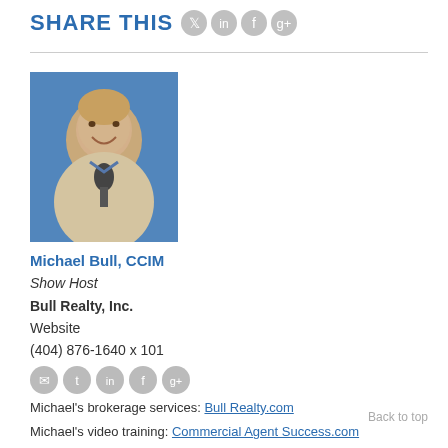SHARE THIS
[Figure (photo): Portrait photo of Michael Bull, CCIM, a man in a beige blazer smiling with a microphone in a studio setting]
Michael Bull, CCIM
Show Host
Bull Realty, Inc.
Website
(404) 876-1640 x 101
Michael's brokerage services: Bull Realty.com
Michael's video training: Commercial Agent Success.com